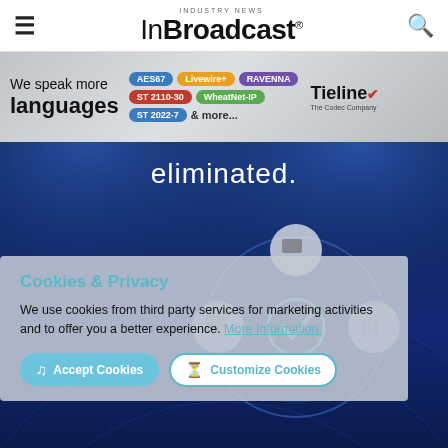InBroadcast - Industry News
[Figure (infographic): Banner advertisement: We speak more languages - AES67, Livewire+, RAVENNA, ST 2110-30, WheatNet-IP, ST 2022-7 & more... Tieline The Codec Company]
[Figure (screenshot): Website screenshot showing 'eliminated.' text over a dark blue stadium background with circular technology diagram icons]
Cookies & Privacy
We use cookies from third party services for marketing activities and to offer you a better experience. More Information.
Accept Cookies    Customize Cookies